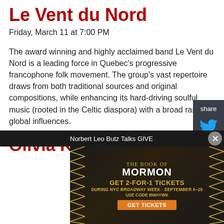Le Vent du Nord
Friday, March 11 at 7:00 PM
The award winning and highly acclaimed band Le Vent du Nord is a leading force in Quebec's progressive francophone folk movement. The group's vast repertoire draws from both traditional sources and original compositions, while enhancing its hard-driving soulful music (rooted in the Celtic diaspora) with a broad range of global influences.
Olivia K & The Parkers
[Figure (screenshot): Share sidebar with Twitter and Facebook icons on dark background]
[Figure (screenshot): Advertisement banner for The Book of Mormon: GET 2-FOR-1 TICKETS DURING NYC BROADWAY WEEK · SEPTEMBER 6-25, USE CODE BWAYWK, GET TICKETS]